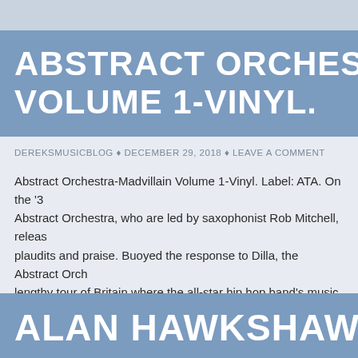ABSTRACT ORCHESTRA-MA... VOLUME 1-VINYL.
DEREKSMUSICBLOG ♦ DECEMBER 29, 2018 ♦ LEAVE A COMMENT
Abstract Orchestra-Madvillain Volume 1-Vinyl. Label: ATA. On the '3... Abstract Orchestra, who are led by saxophonist Rob Mitchell, releas... plaudits and praise. Buoyed the response to Dilla, the Abstract Orch... lengthy tour of Britain where the all-star hip hop band's music found...
CONTINUE READING →
ALAN HAWKSHAW AND B...